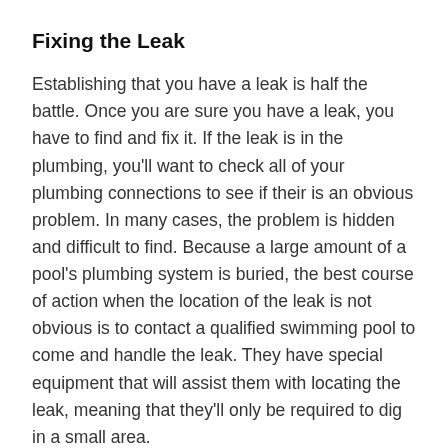Fixing the Leak
Establishing that you have a leak is half the battle. Once you are sure you have a leak, you have to find and fix it. If the leak is in the plumbing, you'll want to check all of your plumbing connections to see if their is an obvious problem. In many cases, the problem is hidden and difficult to find. Because a large amount of a pool's plumbing system is buried, the best course of action when the location of the leak is not obvious is to contact a qualified swimming pool to come and handle the leak. They have special equipment that will assist them with locating the leak, meaning that they'll only be required to dig in a small area.
If a crack in the concrete portion of the pool is causing the leak, the size of the crack will determine whether or not it can be fixed without the assistance of a pool contractor. Very small hairline cracks can often be managed by applying a special rubber or epoxy paint